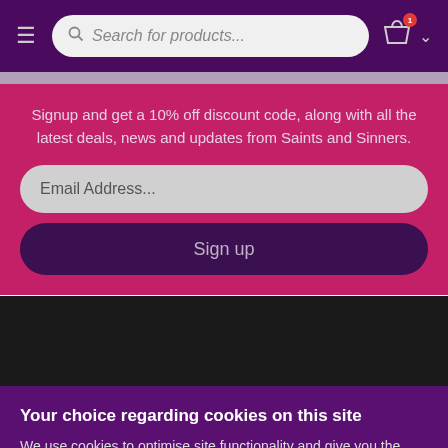[Figure (screenshot): Navigation header bar with hamburger menu, search field reading 'Search for products...', shopping cart icon with badge, and chevron dropdown]
Signup and get a 10% off discount code, along with all the latest deals, news and updates from Saints and Sinners.
Email Address...
Sign up
Your choice regarding cookies on this site
We use cookies to optimise site functionality and give you the best possible experience.
Accept
Cookie Preferences